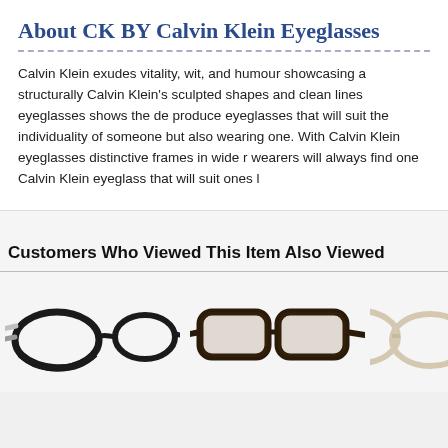About CK BY Calvin Klein Eyeglasses
Calvin Klein exudes vitality, wit, and humour showcasing a structurally Calvin Klein’s sculpted shapes and clean lines eyeglasses shows the de produce eyeglasses that will suit the individuality of someone but also wearing one. With Calvin Klein eyeglasses distinctive frames in wide r wearers will always find one Calvin Klein eyeglass that will suit ones l
Customers Who Viewed This Item Also Viewed
[Figure (photo): Black eyeglasses frames with silver temples, shown from the side]
[Figure (photo): Dark tortoiseshell/black rectangular eyeglasses frames shown from the side]
[Figure (photo): Partial view of light-colored eyeglasses frames, cropped at right edge]